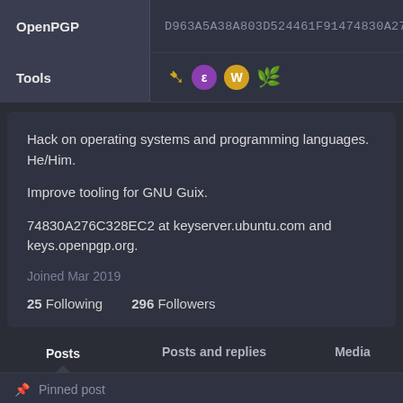OpenPGP  D963A5A38A803D524461F91474830A276C3...
Tools
Hack on operating systems and programming languages. He/Him.

Improve tooling for GNU Guix.

74830A276C328EC2 at keyserver.ubuntu.com and keys.openpgp.org.
Joined Mar 2019
25 Following  296 Followers
Posts  Posts and replies  Media
Pinned post